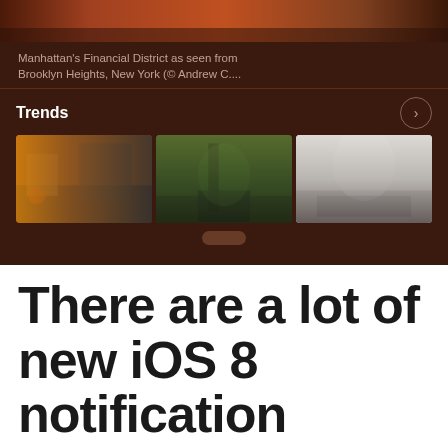[Figure (screenshot): iOS screenshot showing a news app with a 'Trends' section. Caption reads 'Manhattan's Financial District as seen from Brooklyn Heights, New York (© Andrew C....' Three thumbnail images are shown in a horizontal row below the Trends header with a right-arrow button. Dark brownish-red background interface.]
There are a lot of new iOS 8 notification center